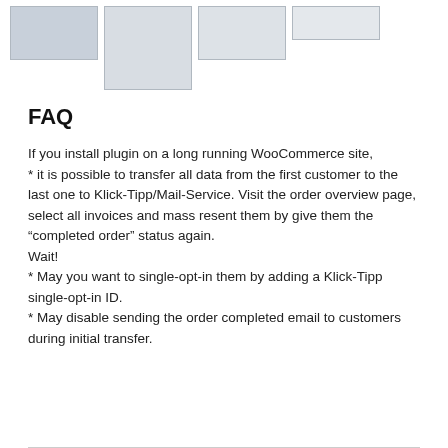[Figure (screenshot): Four small screenshot thumbnails of plugin/WooCommerce interface screens arranged in a row]
FAQ
If you install plugin on a long running WooCommerce site,
* it is possible to transfer all data from the first customer to the last one to Klick-Tipp/Mail-Service. Visit the order overview page, select all invoices and mass resent them by give them the “completed order” status again.
Wait!
* May you want to single-opt-in them by adding a Klick-Tipp single-opt-in ID.
* May disable sending the order completed email to customers during initial transfer.